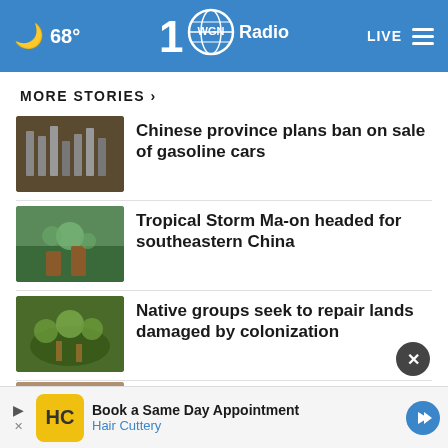68° WGN Radio 100 LIVE
MORE STORIES ›
Chinese province plans ban on sale of gasoline cars
Tropical Storm Ma-on headed for southeastern China
Native groups seek to repair lands damaged by colonization
One month later, Kentucky flood evacuees weigh cloudy …
[Figure (screenshot): Partial news thumbnail at bottom]
[Figure (infographic): Advertisement: Book a Same Day Appointment - Hair Cuttery]